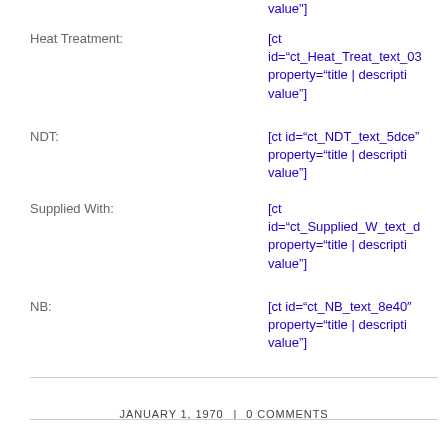value"]
Heat Treatment:
[ct id="ct_Heat_Treat_text_03 property="title | descripti value"]
NDT:
[ct id="ct_NDT_text_5dce" property="title | descripti value"]
Supplied With:
[ct id="ct_Supplied_W_text_d property="title | descripti value"]
NB:
[ct id="ct_NB_text_8e40″ property="title | descripti value"]
JANUARY 1, 1970 | 0 COMMENTS